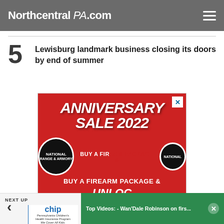NorthcentralPA.com
5 Lewisburg landmark business closing its doors by end of summer
[Figure (screenshot): Advertisement banner for National Range & Armory Anniversary Sale 2022 on red background showing buy a firearm package and unlock promotion text]
Top Videos: - Wan'Dale Robinson on firs...
NEXT UP